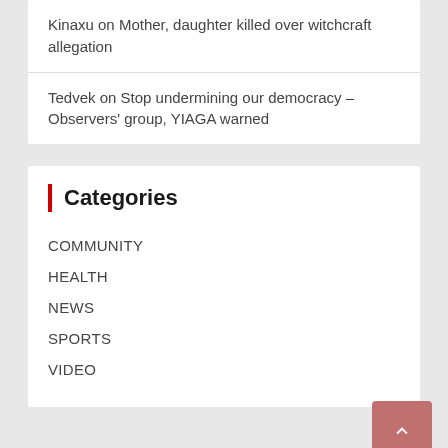Kinaxu on Mother, daughter killed over witchcraft allegation
Tedvek on Stop undermining our democracy – Observers' group, YIAGA warned
Categories
COMMUNITY
HEALTH
NEWS
SPORTS
VIDEO
Search